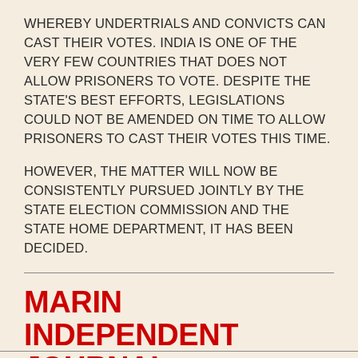WHEREBY UNDERTRIALS AND CONVICTS CAN CAST THEIR VOTES. INDIA IS ONE OF THE VERY FEW COUNTRIES THAT DOES NOT ALLOW PRISONERS TO VOTE. DESPITE THE STATE'S BEST EFFORTS, LEGISLATIONS COULD NOT BE AMENDED ON TIME TO ALLOW PRISONERS TO CAST THEIR VOTES THIS TIME.
HOWEVER, THE MATTER WILL NOW BE CONSISTENTLY PURSUED JOINTLY BY THE STATE ELECTION COMMISSION AND THE STATE HOME DEPARTMENT, IT HAS BEEN DECIDED.
MARIN INDEPENDENT JOURNAL: Newspaper relaunches as nonprofit